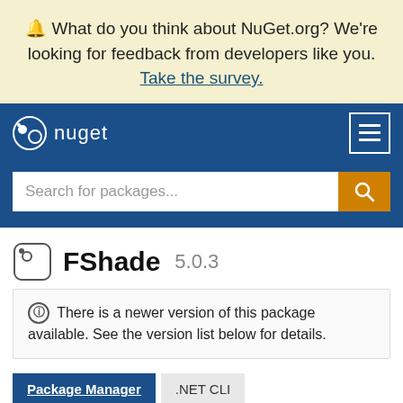🔔 What do you think about NuGet.org? We're looking for feedback from developers like you. Take the survey.
nuget
Search for packages...
FShade 5.0.3
ⓘ There is a newer version of this package available. See the version list below for details.
Package Manager  .NET CLI  PackageReference
Paket CLI  Script & Interactive  Cake